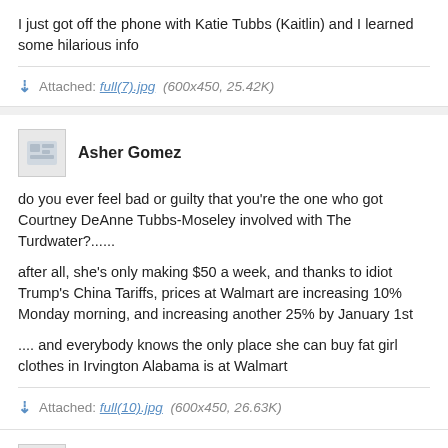I just got off the phone with Katie Tubbs (Kaitlin) and I learned some hilarious info
Attached: full(7).jpg (600x450, 25.42K)
Asher Gomez
do you ever feel bad or guilty that you're the one who got Courtney DeAnne Tubbs-Moseley involved with The Turdwater?......
after all, she's only making $50 a week, and thanks to idiot Trump's China Tariffs, prices at Walmart are increasing 10% Monday morning, and increasing another 25% by January 1st
.... and everybody knows the only place she can buy fat girl clothes in Irvington Alabama is at Walmart
Attached: full(10).jpg (600x450, 26.63K)
Reply Asher